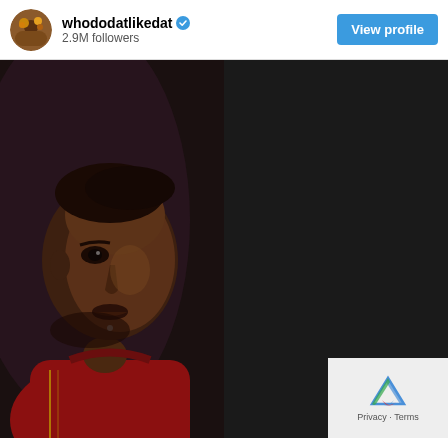whododatlikedat · 2.9M followers · View profile
[Figure (photo): Split composite portrait: left half shows a young person with short hair, wearing a red jacket, photographed in a dark moody studio setting; right half shows an older person's face in extreme close-up, with visible skin texture and wrinkles, dark background. The two halves are aligned at the center to create a visual comparison.]
Privacy · Terms